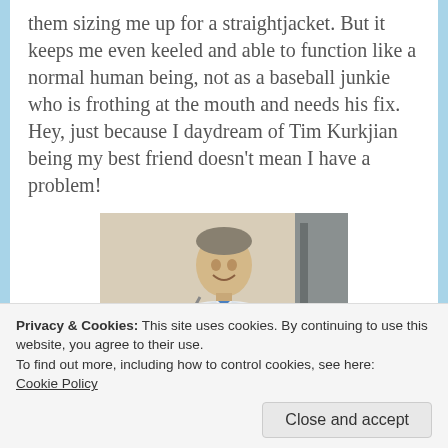them sizing me up for a straightjacket. But it keeps me even keeled and able to function like a normal human being, not as a baseball junkie who is frothing at the mouth and needs his fix. Hey, just because I daydream of Tim Kurkjian being my best friend doesn't mean I have a problem!
[Figure (photo): Photo of a smiling man in a white dress shirt and blue tie, holding papers, standing in what appears to be a hallway or room.]
Privacy & Cookies: This site uses cookies. By continuing to use this website, you agree to their use.
To find out more, including how to control cookies, see here: Cookie Policy
Close and accept